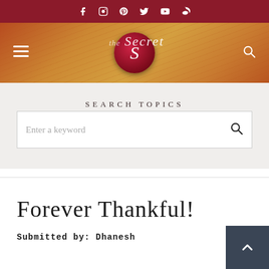Social media icons bar (Facebook, Instagram, Pinterest, Twitter, YouTube, Weibo)
[Figure (screenshot): Website header banner with orange/brown textured background, hamburger menu icon on left, The Secret logo (red circle with S) in center, search icon on right]
Search Topics
Enter a keyword
Forever Thankful!
Submitted by: Dhanesh